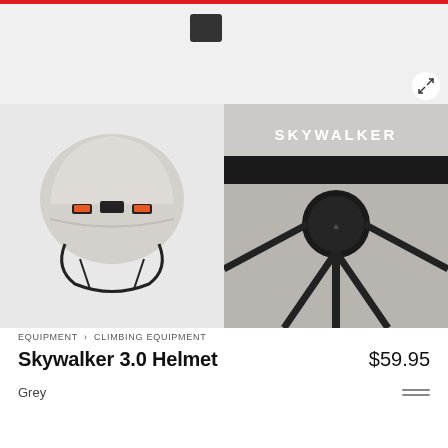[Figure (photo): Top section showing a small helmet thumbnail icon on grey background with expand/fullscreen icon in bottom right corner]
[Figure (photo): Front view of Skywalker 3.0 climbing helmet in grey/white color with orange ventilation accents and black chin strap system]
[Figure (photo): Interior view of Skywalker 3.0 climbing helmet showing adjustment dial and black strap system with SKYWALKER text on shell]
EQUIPMENT > CLIMBING EQUIPMENT
Skywalker 3.0 Helmet
$59.95
Grey